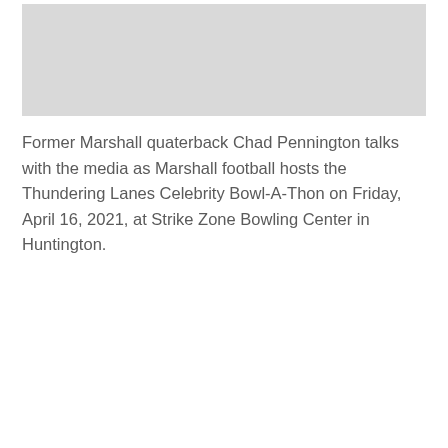[Figure (photo): A gray placeholder rectangle representing a photo area at the top of the page.]
Former Marshall quaterback Chad Pennington talks with the media as Marshall football hosts the Thundering Lanes Celebrity Bowl-A-Thon on Friday, April 16, 2021, at Strike Zone Bowling Center in Huntington.